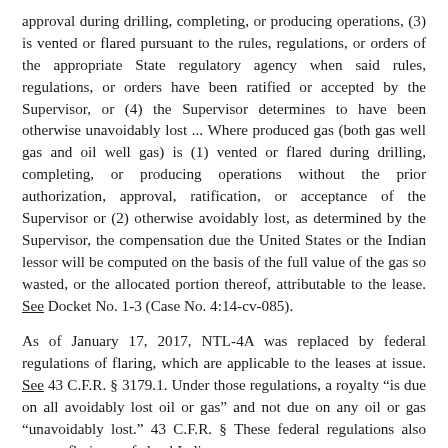approval during drilling, completing, or producing operations, (3) is vented or flared pursuant to the rules, regulations, or orders of the appropriate State regulatory agency when said rules, regulations, or orders have been ratified or accepted by the Supervisor, or (4) the Supervisor determines to have been otherwise unavoidably lost ... Where produced gas (both gas well gas and oil well gas) is (1) vented or flared during drilling, completing, or producing operations without the prior authorization, approval, ratification, or acceptance of the Supervisor or (2) otherwise avoidably lost, as determined by the Supervisor, the compensation due the United States or the Indian lessor will be computed on the basis of the full value of the gas so wasted, or the allocated portion thereof, attributable to the lease. See Docket No. 1-3 (Case No. 4:14-cv-085).
As of January 17, 2017, NTL-4A was replaced by federal regulations of flaring, which are applicable to the leases at issue. See 43 C.F.R. § 3179.1. Under those regulations, a royalty "is due on all avoidably lost oil or gas" and not due on any oil or gas "unavoidably lost." 43 C.F.R. § These federal regulations also govern flaring on federal Indian